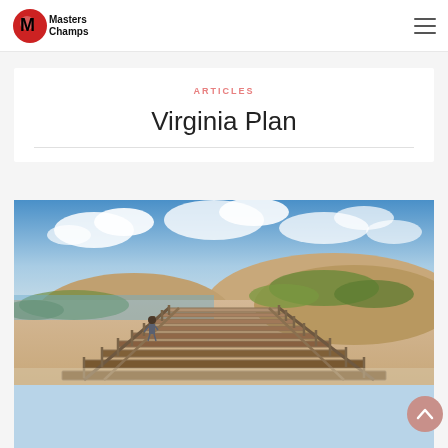MastersChamps
ARTICLES
Virginia Plan
[Figure (photo): A wooden boardwalk leading through sand dunes with green grass under a partly cloudy blue sky. A person stands on the boardwalk looking out toward the water.]